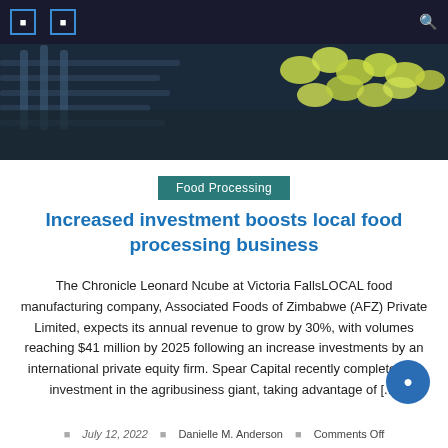[Figure (photo): Dark-themed website navigation bar with two square icon buttons on the left and a search icon on the right]
[Figure (photo): Hero banner image showing food processing machinery and yellow-green food items on a conveyor, with dark blue overlay]
Food Processing
Increased investment boosts local food processing business
The Chronicle Leonard Ncube at Victoria FallsLOCAL food manufacturing company, Associated Foods of Zimbabwe (AFZ) Private Limited, expects its annual revenue to grow by 30%, with volumes reaching $41 million by 2025 following an increase investments by an international private equity firm. Spear Capital recently completed its investment in the agribusiness giant, taking advantage of [...]
July 12, 2022  Danielle M. Anderson  Comments Off